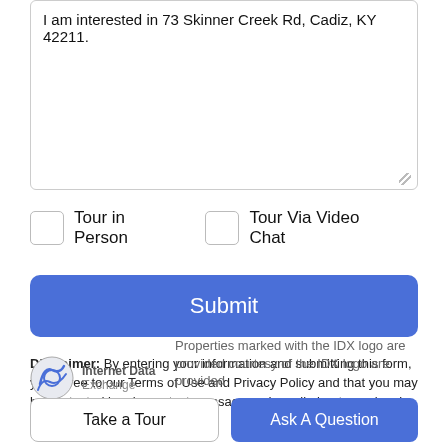I am interested in 73 Skinner Creek Rd, Cadiz, KY 42211.
Tour in Person
Tour Via Video Chat
Submit
Disclaimer: By entering your information and submitting this form, you agree to our Terms of Use and Privacy Policy and that you may be contacted by phone, text message and email about your inquiry.
Properties marked with the IDX logo are provided courtesy of the IDX logo are provided
Take a Tour
Ask A Question